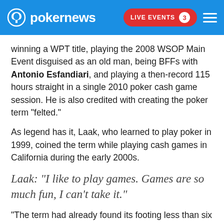pokernews | LIVE EVENTS 3
winning a WPT title, playing the 2008 WSOP Main Event disguised as an old man, being BFFs with Antonio Esfandiari, and playing a then-record 115 hours straight in a single 2010 poker cash game session. He is also credited with creating the poker term “felted.”
As legend has it, Laak, who learned to play poker in 1999, coined the term while playing cash games in California during the early 2000s.
Laak: "I like to play games. Games are so much fun, I can’t take it."
“The term had already found its footing less than six months after I said it, at least locally,” Laak told PokerNews. “I already knew it was gonna wiggle its way into being an actual,